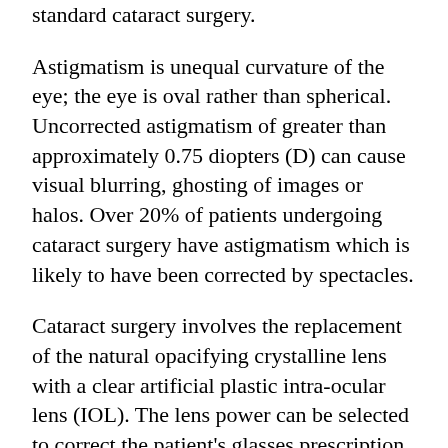standard cataract surgery.
Astigmatism is unequal curvature of the eye; the eye is oval rather than spherical. Uncorrected astigmatism of greater than approximately 0.75 diopters (D) can cause visual blurring, ghosting of images or halos. Over 20% of patients undergoing cataract surgery have astigmatism which is likely to have been corrected by spectacles.
Cataract surgery involves the replacement of the natural opacifying crystalline lens with a clear artificial plastic intra-ocular lens (IOL). The lens power can be selected to correct the patient's glasses prescription. The most widely used IOLs only correct glasses at one distance i.e. either near or distance. Residual astigmatism after cataract